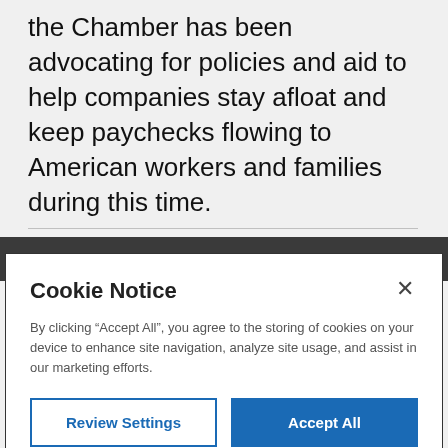the Chamber has been advocating for policies and aid to help companies stay afloat and keep paychecks flowing to American workers and families during this time.
[Figure (photo): Dark photographic strip partially visible behind the cookie notice modal]
Cookie Notice
×
By clicking “Accept All”, you agree to the storing of cookies on your device to enhance site navigation, analyze site usage, and assist in our marketing efforts.
Review Settings  Accept All